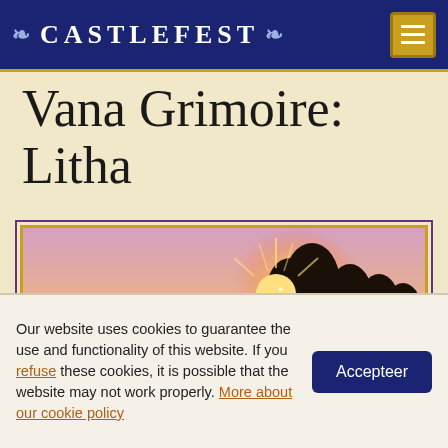❧ CASTLEFEST ❧
Vana Grimoire: Litha
[Figure (photo): Lavender field at sunset with trees silhouetted against an orange and pink sky, golden sunlight bursting through the trees, framed with gold and purple border]
Our website uses cookies to guarantee the use and functionality of this website. If you refuse these cookies, it is possible that the website may not work properly. More about our cookie policy